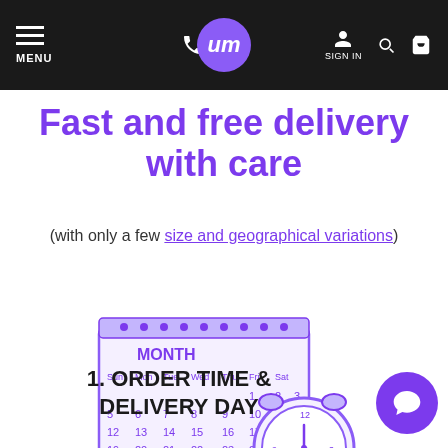MENU | phone icon | um logo | SIGN IN | search | cart
Fast and free delivery with care
(with only a few size and geographical variations)
[Figure (illustration): Illustration of a desk calendar showing a month grid with days Sun through Sat and dates 1-30, alongside an alarm clock, both drawn in purple line art style.]
1. ORDER TIME & DELIVERY DAY